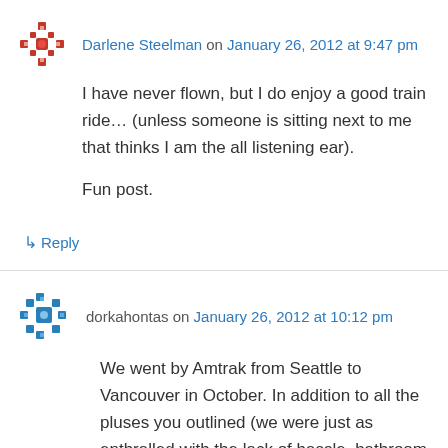Darlene Steelman on January 26, 2012 at 9:47 pm
I have never flown, but I do enjoy a good train ride… (unless someone is sitting next to me that thinks I am the all listening ear).

Fun post.
↳ Reply
dorkahontas on January 26, 2012 at 10:12 pm
We went by Amtrak from Seattle to Vancouver in October. In addition to all the pluses you outlined (we were just as enthralled with the lack of hassle, bathroom, dining and silent cars, elbow room and free wireless), we got to see Puget